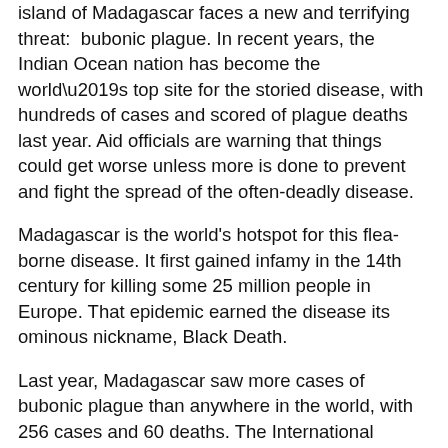island of Madagascar faces a new and terrifying threat: bubonic plague. In recent years, the Indian Ocean nation has become the world's top site for the storied disease, with hundreds of cases and scored of plague deaths last year. Aid officials are warning that things could get worse unless more is done to prevent and fight the spread of the often-deadly disease.
Madagascar is the world's hotspot for this flea-borne disease. It first gained infamy in the 14th century for killing some 25 million people in Europe. That epidemic earned the disease its ominous nickname, Black Death.
Last year, Madagascar saw more cases of bubonic plague than anywhere in the world, with 256 cases and 60 deaths. The International Committee of the Red Cross (ICRC) says that some 500 cases have been recorded on the island every year since 2009.
The ICRC this week announced a campaign with Malagasy authorities to eliminate flea-ridden disease-carrying rodents in a prison in the capital. Prisons in the nation are often overcrowded and dirty, making them ideal breeding grounds for disease.
Bubonic plague is rare in the modern era. But ICRC spokesman Jean-Yves Clémenzo says it persists in some pockets of the world, like Madagascar. He spoke to VOA from Geneva. “It’s not only Madagascar. You have still cases of plague in around 15 countries in the world, mainly the Democratic Republic of Congo, Madagascar and some